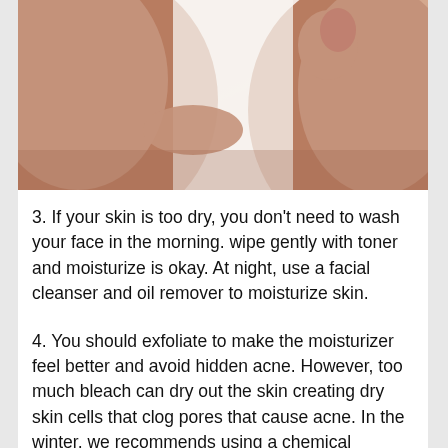[Figure (photo): Two people, close-up skin/face touching scene with warm skin tones against white background]
3. If your skin is too dry, you don't need to wash your face in the morning. wipe gently with toner and moisturize is okay. At night, use a facial cleanser and oil remover to moisturize skin.
4. You should exfoliate to make the moisturizer feel better and avoid hidden acne. However, too much bleach can dry out the skin creating dry skin cells that clog pores that cause acne. In the winter, we recommends using a chemical exfoliator like AHA to help reduce dry skin.
5. Do not take a hot bath because it will remove the natural oils from your skin. Bathe with moisturizers like Dove or Yves Rocher shower gel. In addition, after bathing, the skin is still damp, apply body lotion immediately. You can try the body lotion of Yves Rocher or Kiehl's. If anyone's body is too dry, we recommends applying Johnson Baby Oil Gel after